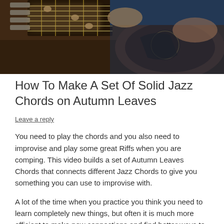[Figure (photo): Close-up photo of hands playing a jazz guitar, showing the fretboard and body of the instrument with a blue background.]
How To Make A Set Of Solid Jazz Chords on Autumn Leaves
Leave a reply
You need to play the chords and you also need to improvise and play some great Riffs when you are comping. This video builds a set of Autumn Leaves Chords that connects different Jazz Chords to give you something you can use to improvise with.
A lot of the time when you practice you think you need to learn completely new things, but often it is much more efficient to make new connections and find better ways to use what you already know. And become much more flexible